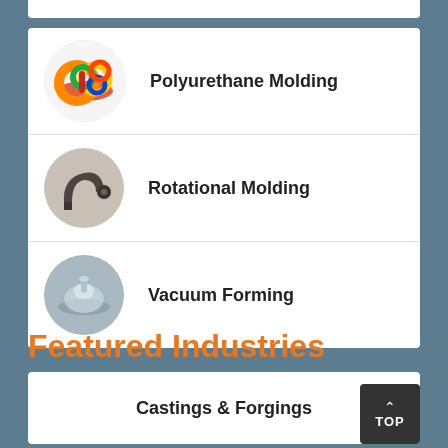[Figure (photo): Circular image of colorful polyurethane molded rings and discs in various colors including orange, red, yellow, green, blue]
Polyurethane Molding
[Figure (photo): Circular image of a dark grey rotational molded plastic part (elbow/pipe fitting)]
Rotational Molding
[Figure (photo): Circular image of a transparent vacuum formed plastic disc/suction cup part]
Vacuum Forming
Featured Industries
Castings & Forgings